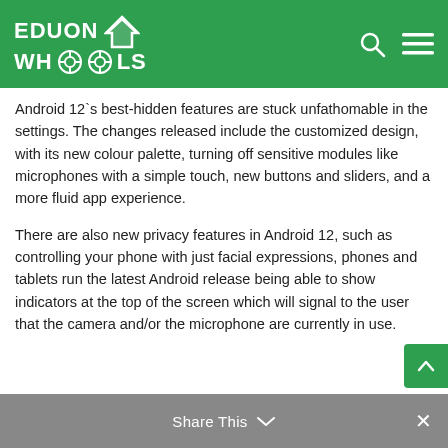EDUON WHOOLS
Android 12`s best-hidden features are stuck unfathomable in the settings. The changes released include the customized design, with its new colour palette, turning off sensitive modules like microphones with a simple touch, new buttons and sliders, and a more fluid app experience.
There are also new privacy features in Android 12, such as controlling your phone with just facial expressions, phones and tablets run the latest Android release being able to show indicators at the top of the screen which will signal to the user that the camera and/or the microphone are currently in use.
Share This